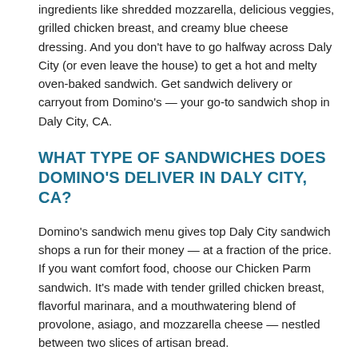ingredients like shredded mozzarella, delicious veggies, grilled chicken breast, and creamy blue cheese dressing. And you don't have to go halfway across Daly City (or even leave the house) to get a hot and melty oven-baked sandwich. Get sandwich delivery or carryout from Domino's — your go-to sandwich shop in Daly City, CA.
WHAT TYPE OF SANDWICHES DOES DOMINO'S DELIVER IN DALY CITY, CA?
Domino's sandwich menu gives top Daly City sandwich shops a run for their money — at a fraction of the price. If you want comfort food, choose our Chicken Parm sandwich. It's made with tender grilled chicken breast, flavorful marinara, and a mouthwatering blend of provolone, asiago, and mozzarella cheese — nestled between two slices of artisan bread.
Is Chicken Parm not your top sandwich pick? Surprise your taste buds with the Italian Sandwich. It's a flavorful combination of your favorite ingredients like pepperoni, salami, banana peppers, and melted provolone on oven-toasted bread. It's flavorful, cheesy, and the perfect pinch of spicy.